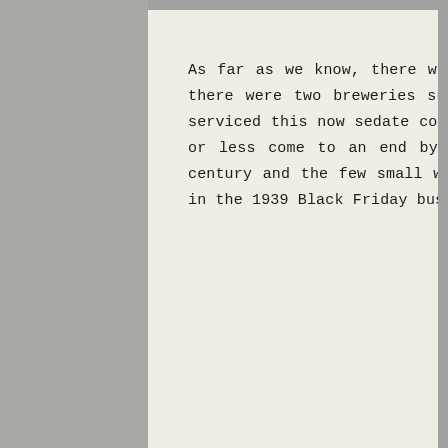As far as we know, there were no vines in the region then but there were two breweries supplying the many hotels which once serviced this now sedate community. Large scale mining had more or less come to an end by the first decade of the twentieth century and the few small workings still in use were destroyed in the 1939 Black Friday bushfires.
[Figure (illustration): Circular brewery label or seal showing text 'OUGH OF JAMI' (Touch of Jamie) around the rim, with ornate Victorian-style lettering inside including 'Situate at the Junction' and 'Frankton and Gippston Brewery']